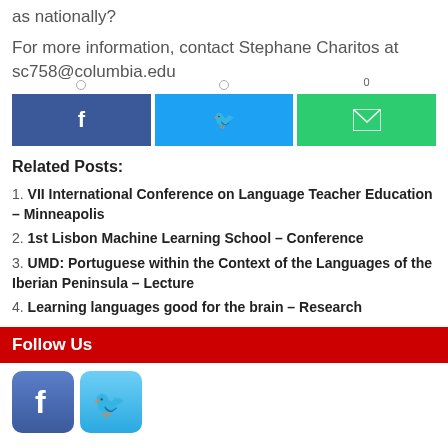as nationally?
For more information, contact Stephane Charitos at sc758@columbia.edu
[Figure (other): Social share buttons: Facebook (blue), Twitter (light blue), Email (green), each with small share count bubbles above]
Related Posts:
1. VII International Conference on Language Teacher Education – Minneapolis
2. 1st Lisbon Machine Learning School – Conference
3. UMD: Portuguese within the Context of the Languages of the Iberian Peninsula – Lecture
4. Learning languages good for the brain – Research
Follow Us
[Figure (other): Facebook and Twitter social media icon buttons]